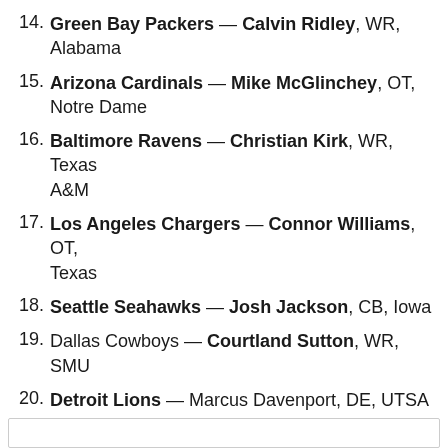14. Green Bay Packers — Calvin Ridley, WR, Alabama
15. Arizona Cardinals — Mike McGlinchey, OT, Notre Dame
16. Baltimore Ravens — Christian Kirk, WR, Texas A&M
17. Los Angeles Chargers — Connor Williams, OT, Texas
18. Seattle Seahawks — Josh Jackson, CB, Iowa
19. Dallas Cowboys — Courtland Sutton, WR, SMU
20. Detroit Lions — Marcus Davenport, DE, UTSA
21. Cincinnati Bengals —